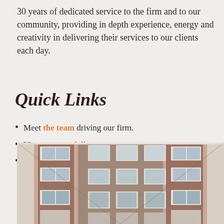30 years of dedicated service to the firm and to our community, providing in depth experience, energy and creativity in delivering their services to our clients each day.
Quick Links
Meet the team driving our firm.
View our portfolio.
Learn more about our approach.
[Figure (photo): Upward-angle photograph of a multi-story red brick building facade with white-trimmed windows, viewed from street level looking up.]